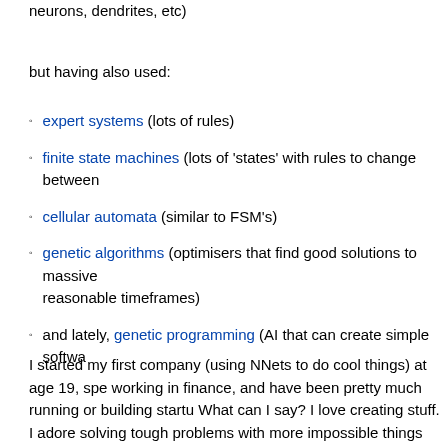neurons, dendrites, etc)
but having also used:
expert systems (lots of rules)
finite state machines (lots of 'states' with rules to change between
cellular automata (similar to FSM's)
genetic algorithms (optimisers that find good solutions to massive reasonable timeframes)
and lately, genetic programming (AI that can create simple softwa
I started my first company (using NNets to do cool things) at age 19, spe working in finance, and have been pretty much running or building startu What can I say? I love creating stuff. I adore solving tough problems with more impossible things before breakfast (or at the very least, once a wee
My most recent venture was Twit Cleaner (a behavioural categorisation e aka an asshole detector), which I built (db, design, engine, front end – ie, for four-ish years until mid 2013. Keeping that up and running 24/7 with la while sitting on top of the stability-challenged Twitter platform was.. most fun.
This blog contains interesting tech stuff, bug fixes I discover (here for refe